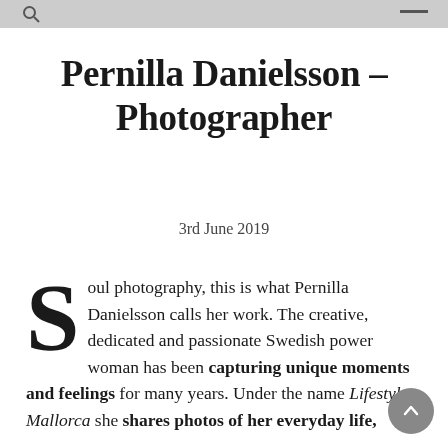Pernilla Danielsson – Photographer
3rd June 2019
Soul photography, this is what Pernilla Danielsson calls her work. The creative, dedicated and passionate Swedish power woman has been capturing unique moments and feelings for many years. Under the name Lifestyle Mallorca she shares photos of her everyday life,